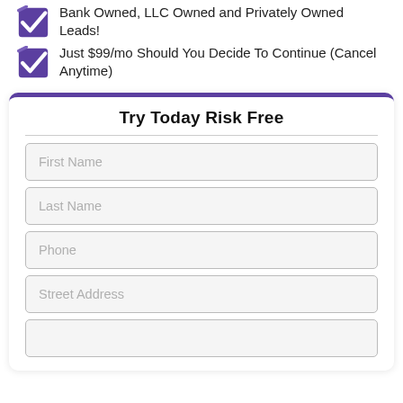Bank Owned, LLC Owned and Privately Owned Leads!
Just $99/mo Should You Decide To Continue (Cancel Anytime)
Try Today Risk Free
First Name
Last Name
Phone
Street Address